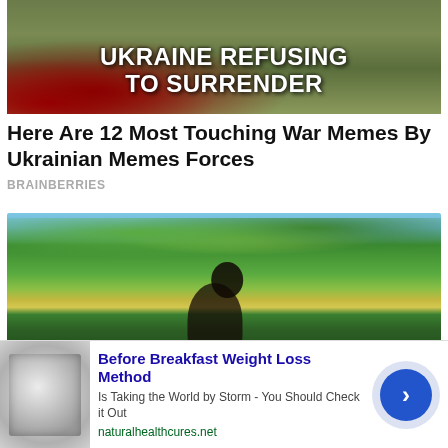[Figure (photo): War-themed illustration with soldiers silhouette and bold white text reading UKRAINE REFUSING TO SURRENDER on a red and olive background]
Here Are 12 Most Touching War Memes By Ukrainian Memes Forces
BRAINBERRIES
[Figure (photo): Photo of a person with dark hair looking up at trees with autumn foliage against a blue sky]
[Figure (screenshot): Advertisement banner: Before Breakfast Weight Loss Method - Is Taking the World by Storm - You Should Check it Out - naturalhealthcures.net]